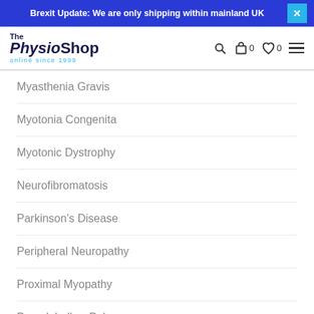Brexit Update: We are only shipping within mainland UK
[Figure (logo): The Physio Shop logo - online since 1999]
Myasthenia Gravis
Myotonia Congenita
Myotonic Dystrophy
Neurofibromatosis
Parkinson's Disease
Peripheral Neuropathy
Proximal Myopathy
Pseudobulbar Palsy
Ptosis and Horner Syndrome